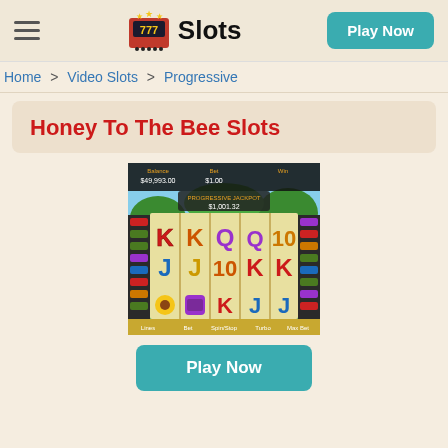Slots — Play Now
Home > Video Slots > Progressive
Honey To The Bee Slots
[Figure (screenshot): Screenshot of Honey To The Bee slot machine game showing 5 reels with colorful card symbols (K, Q, J, 10) in red, blue, and purple on a nature/bee themed background with balance and bet information at top]
Play Now